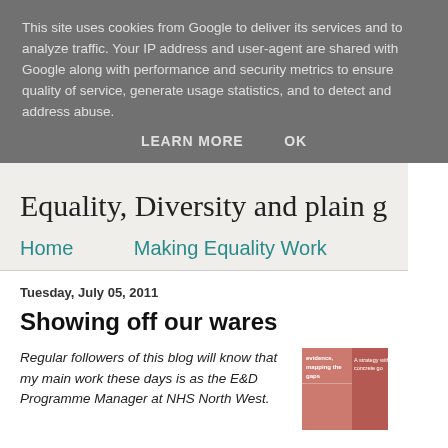This site uses cookies from Google to deliver its services and to analyze traffic. Your IP address and user-agent are shared with Google along with performance and security metrics to ensure quality of service, generate usage statistics, and to detect and address abuse.
LEARN MORE   OK
Equality, Diversity and plain good sense
Home    Making Equality Work
Tuesday, July 05, 2011
Showing off our wares
Regular followers of this blog will know that my main work these days is as the E&D Programme Manager at NHS North West.
[Figure (photo): Reddish-pink book cover image partially visible on the right side of the page]